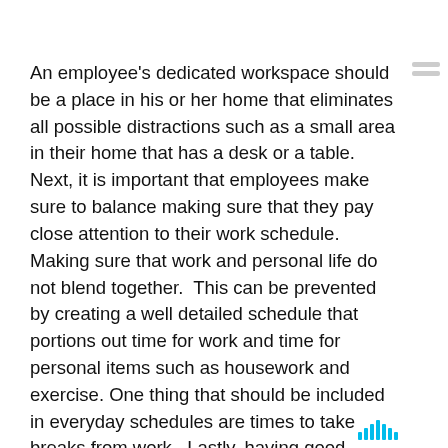An employee's dedicated workspace should be a place in his or her home that eliminates all possible distractions such as a small area in their home that has a desk or a table.  Next, it is important that employees make sure to balance making sure that they pay close attention to their work schedule. Making sure that work and personal life do not blend together.  This can be prevented by creating a well detailed schedule that portions out time for work and time for personal items such as housework and exercise. One thing that should be included in everyday schedules are times to take breaks from work.  Lastly, having good communication between colleagues is key. There are a variety of different ways to have successful communication between employees. Such as using email, instant message, video chats, and phone calls.